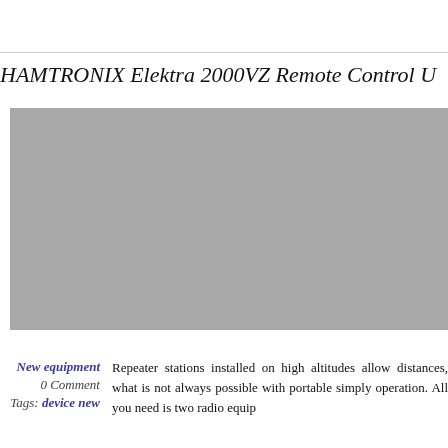HAMTRONIX Elektra 2000VZ Remote Control U
[Figure (photo): Large grey/silver rectangular image placeholder for the HAMTRONIX Elektra 2000VZ Remote Control Unit product photo]
New equipment
0 Comment
Tags: device new
Repeater stations installed on high altitudes allow distances, what is not always possible with portable simply operation. All you need is two radio equip